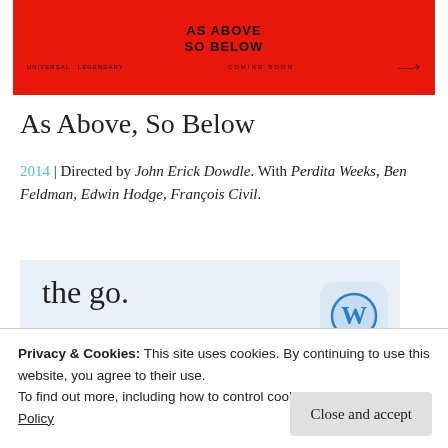[Figure (illustration): Red movie poster banner for 'As Above, So Below' with bold black text title and 'Coming Soon' tagline]
As Above, So Below
2014 | Directed by John Erick Dowdle. With Perdita Weeks, Ben Feldman, Edwin Hodge, François Civil.
[Figure (infographic): Light blue advertisement box with 'the go.' text and 'GET THE APP' link, with WordPress logo icon]
Privacy & Cookies: This site uses cookies. By continuing to use this website, you agree to their use.
To find out more, including how to control cookies, see here: Cookie Policy
Close and accept